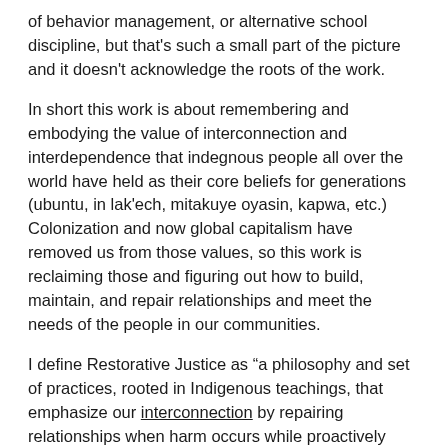of behavior management, or alternative school discipline, but that's such a small part of the picture and it doesn't acknowledge the roots of the work.
In short this work is about remembering and embodying the value of interconnection and interdependence that indegnous people all over the world have held as their core beliefs for generations (ubuntu, in lak'ech, mitakuye oyasin, kapwa, etc.) Colonization and now global capitalism have removed us from those values, so this work is reclaiming those and figuring out how to build, maintain, and repair relationships and meet the needs of the people in our communities.
I define Restorative Justice as "a philosophy and set of practices, rooted in Indigenous teachings, that emphasize our interconnection by repairing relationships when harm occurs while proactively building and maintaining relationships to prevent future harm." Restorative practices can be a part of that. Many people think of RP as the proactive things that you do to build and maintain relationships and help people heal. The Restorative Justice